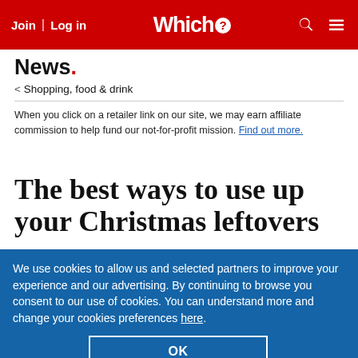Join | Log in  Which?
News.
< Shopping, food & drink
When you click on a retailer link on our site, we may earn affiliate commission to help fund our not-for-profit mission. Find out more.
The best ways to use up your Christmas leftovers
We use cookies to allow us and selected partners to improve your experience and our advertising. By continuing to browse you consent to our use of cookies. You can understand more and change your cookies preferences here.
OK